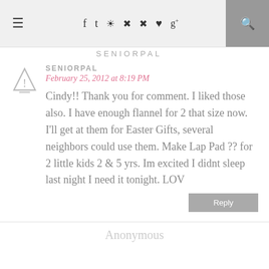SENIORPAL — navigation bar with social icons and search
SENIORPAL
February 25, 2012 at 8:19 PM
Cindy!! Thank you for comment. I liked those also. I have enough flannel for 2 that size now. I'll get at them for Easter Gifts, several neighbors could use them. Make Lap Pad ?? for 2 little kids 2 & 5 yrs. Im excited I didnt sleep last night I need it tonight. LOV
Reply
Anonymous